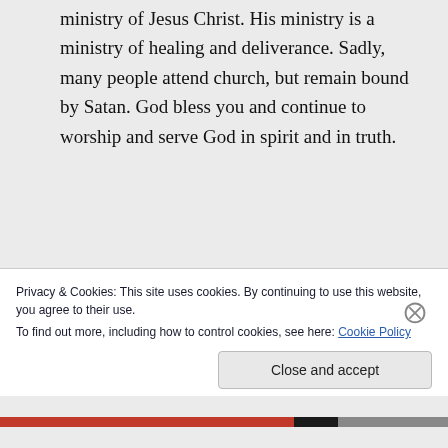ministry of Jesus Christ. His ministry is a ministry of healing and deliverance. Sadly, many people attend church, but remain bound by Satan. God bless you and continue to worship and serve God in spirit and in truth.
Sincerely in Christ,
Kevin Graves
Privacy & Cookies: This site uses cookies. By continuing to use this website, you agree to their use.
To find out more, including how to control cookies, see here: Cookie Policy
Close and accept